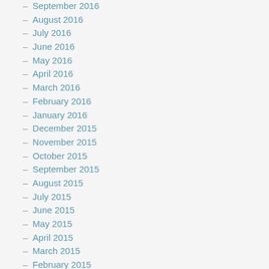September 2016
August 2016
July 2016
June 2016
May 2016
April 2016
March 2016
February 2016
January 2016
December 2015
November 2015
October 2015
September 2015
August 2015
July 2015
June 2015
May 2015
April 2015
March 2015
February 2015
January 2015
December 2014
November 2014